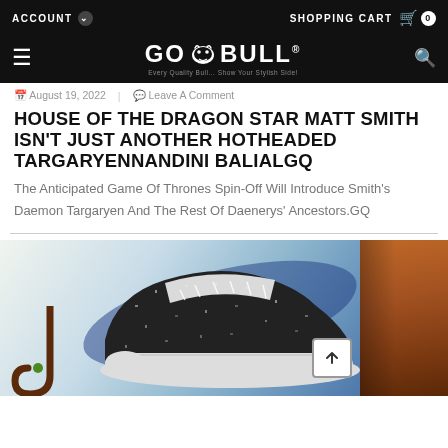ACCOUNT  |  SHOPPING CART  0
[Figure (logo): GO BULL logo with bull head icon, white text on black background, tagline below]
August 19, 2022  |  Leave A Comment
HOUSE OF THE DRAGON STAR MATT SMITH ISN'T JUST ANOTHER HOTHEADED TARGARYENNANDINI BALIALGQ
The Anticipated Game Of Thrones Spin-Off Will Introduce Smith's Daemon Targaryen And The Rest Of Daenerys' Ancestors.GQ
[Figure (photo): Product image showing a black splatter-painted high-top sneaker against a blue gradient background, with a brown jacket on the right side and cane handle on the lower left. A scroll-to-top button overlay is visible.]